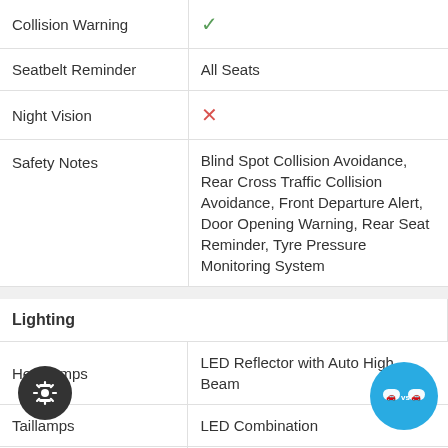| Feature | Value |
| --- | --- |
| Collision Warning | ✓ |
| Seatbelt Reminder | All Seats |
| Night Vision | ✗ |
| Safety Notes | Blind Spot Collision Avoidance, Rear Cross Traffic Collision Avoidance, Front Departure Alert, Door Opening Warning, Rear Seat Reminder, Tyre Pressure Monitoring System |
Lighting
| Feature | Value |
| --- | --- |
| Headlamps | LED Reflector with Auto High Beam |
| Taillamps | LED Combination |
| LED Daytime Running Lights | ✓ |
| Front Foglamps | ✗ |
| Rear Foglamps | ✓ |
| Mirror Turn Indicators | ✓ |